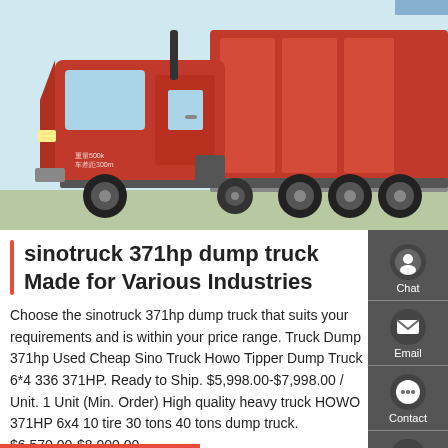[Figure (photo): A red Sinotruck HOWO dump truck photographed from the side, showing the cab and red dump body. The truck is large and heavy-duty.]
sinotruck 371hp dump truck Made for Various Industries
Choose the sinotruck 371hp dump truck that suits your requirements and is within your price range. Truck Dump 371hp Used Cheap Sino Truck Howo Tipper Dump Truck 6*4 336 371HP. Ready to Ship. $5,998.00-$7,998.00 / Unit. 1 Unit (Min. Order) High quality heavy truck HOWO 371HP 6x4 10 tire 30 tons 40 tons dump truck. $6,570.00-$8,900.00